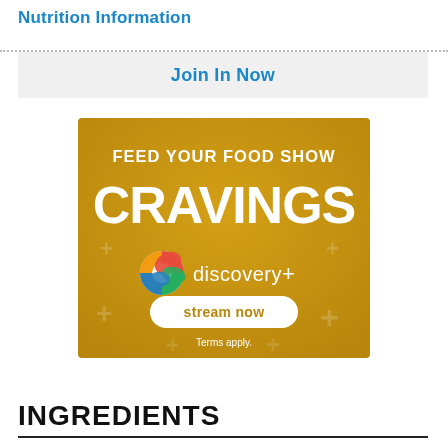Nutrition Information
Join In Now
[Figure (illustration): Discovery+ advertisement banner with golden/yellow background. Text reads 'FEED YOUR FOOD SHOW CRAVINGS' in large white bold font, with the Discovery+ logo (colorful circular icon) and the text 'discovery+', a white pill-shaped button reading 'stream now', and small text 'Terms apply.' Decorative plus signs visible in corners.]
INGREDIENTS